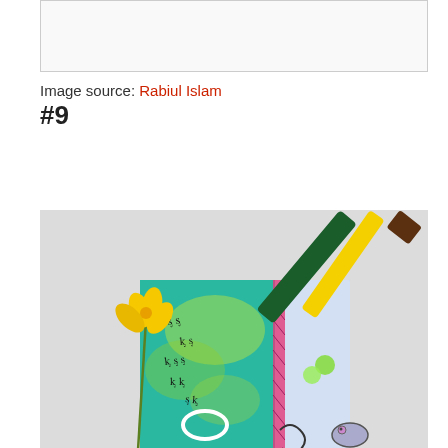[Figure (photo): Top partial image box showing white/blank area with light gray border]
Image source: Rabiul Islam
#9
[Figure (photo): Photograph of colorful artwork on paper with teal/green watercolor background, black doodle marks, a yellow flower on the left, a white oval shape, and markers (dark green and yellow) resting on the upper right corner of the artwork. The painting also shows pink/magenta vertical stripe and light purple/blue section with green dots.]